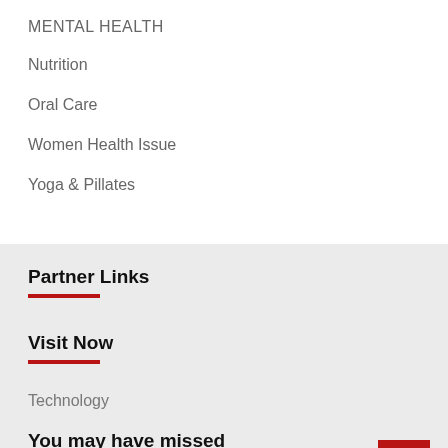MENTAL HEALTH
Nutrition
Oral Care
Women Health Issue
Yoga & Pillates
Partner Links
Visit Now
Technology
You may have missed